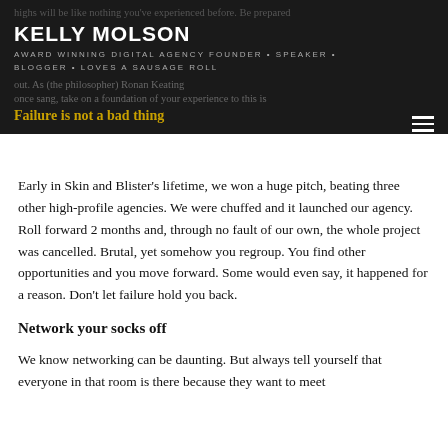highs will be like nothing you've experienced before. Be prepared
KELLY MOLSON
AWARD WINNING DIGITAL AGENCY FOUNDER • SPEAKER •
BLOGGER • LOVES A SAUSAGE ROLL
out. As (the philosopher) Ronan Keating
once sang, take on a foundation of your experience to this is
Failure is not a bad thing
Early in Skin and Blister's lifetime, we won a huge pitch, beating three other high-profile agencies. We were chuffed and it launched our agency. Roll forward 2 months and, through no fault of our own, the whole project was cancelled. Brutal, yet somehow you regroup. You find other opportunities and you move forward. Some would even say, it happened for a reason. Don't let failure hold you back.
Network your socks off
We know networking can be daunting. But always tell yourself that everyone in that room is there because they want to meet